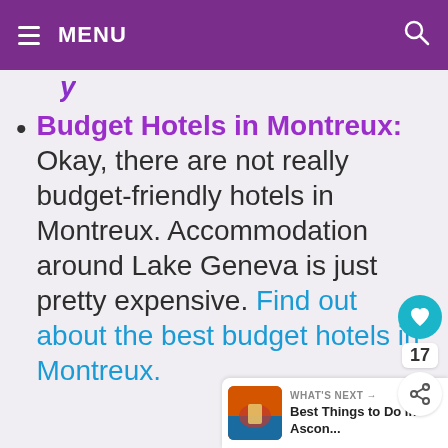☰ MENU  🔍
Budget Hotels in Montreux: Okay, there are not really budget-friendly hotels in Montreux. Accommodation around Lake Geneva is just pretty expensive. Find out about the best budget hotels in Montreux.